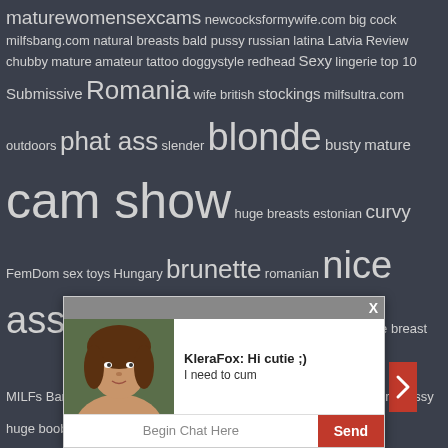maturewomensexcams newcocksformywife.com big cock milfsbang.com natural breasts bald pussy russian latina Latvia Review chubby mature amateur tattoo doggystyle redhead Sexy lingerie top 10 Submissive Romania wife british stockings milfsultra.com outdoors phat ass slender blonde busty mature cam show huge breasts estonian curvy FemDom sex toys Hungary brunette romanian nice ass blonde mature NSFW bonga small tit mature dildo huge breast MILFs Bang Mature busty itslive.com hairy pussy huge boobs big beasts Hispanic Dominatrix canadian Ukraine Mature Women cock riding big tit mature cam girl porn orgy Reviews Italy curly united states glasses Russia Role plays united kingdom lingerie feet fat big breast granny housewife bdsm Masturbation Average webcam hot booty natural cumshot GILF camgirl pornstar Bulgaria hair anal play Cam2 ass smoking Co
[Figure (screenshot): Chat popup with photo of a young woman with curly hair, username KleraFox saying 'Hi cutie ;) I need to cum', with Begin Chat Here input and Send button]